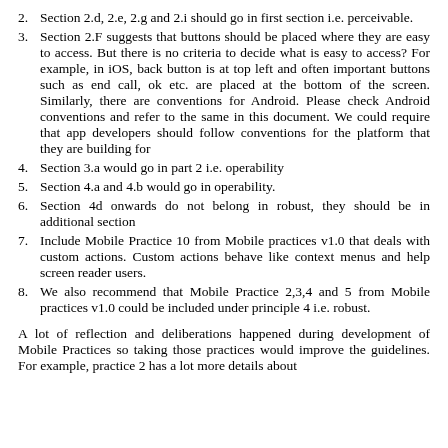2. Section 2.d, 2.e, 2.g and 2.i should go in first section i.e. perceivable.
3. Section 2.F suggests that buttons should be placed where they are easy to access. But there is no criteria to decide what is easy to access? For example, in iOS, back button is at top left and often important buttons such as end call, ok etc. are placed at the bottom of the screen. Similarly, there are conventions for Android. Please check Android conventions and refer to the same in this document. We could require that app developers should follow conventions for the platform that they are building for
4. Section 3.a would go in part 2 i.e. operability
5. Section 4.a and 4.b would go in operability.
6. Section 4d onwards do not belong in robust, they should be in additional section
7. Include Mobile Practice 10 from Mobile practices v1.0 that deals with custom actions. Custom actions behave like context menus and help screen reader users.
8. We also recommend that Mobile Practice 2,3,4 and 5 from Mobile practices v1.0 could be included under principle 4 i.e. robust.
A lot of reflection and deliberations happened during development of Mobile Practices so taking those practices would improve the guidelines. For example, practice 2 has a lot more details about